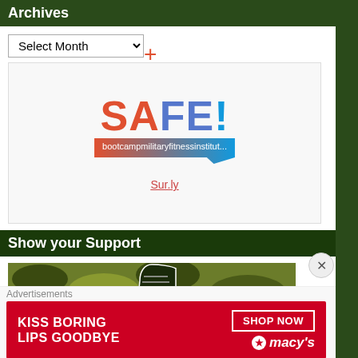Archives
[Figure (screenshot): Select Month dropdown and Surly safety widget showing SAFE! with bootcampmilitaryfitnessinstitut... bubble and Sur.ly link]
Show your Support
[Figure (illustration): Camouflage pattern with military boot illustration]
Advertisements
[Figure (photo): Macy's advertisement: KISS BORING LIPS GOODBYE, SHOP NOW, macy's logo with star]